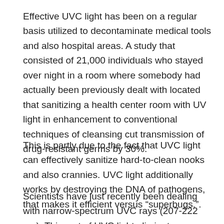Effective UVC light has been on a regular basis utilized to decontaminate medical tools and also hospital areas. A study that consisted of 21,000 individuals who stayed over night in a room where somebody had actually been previously dealt with located that sanitizing a health center room with UV light in enhancement to conventional techniques of cleansing cut transmission of drug-resistant germs by 30%.
This is partly due to the fact that UVC light can effectively sanitize hard-to-clean nooks and also crannies. UVC light additionally works by destroying the DNA of pathogens, that makes it efficient versus “superbugs.”.
Scientists have just recently been dealing with narrow-spectrum UVC rays (207-222 nm). This sort of UVC light eliminates bacteria and infections without permeating the